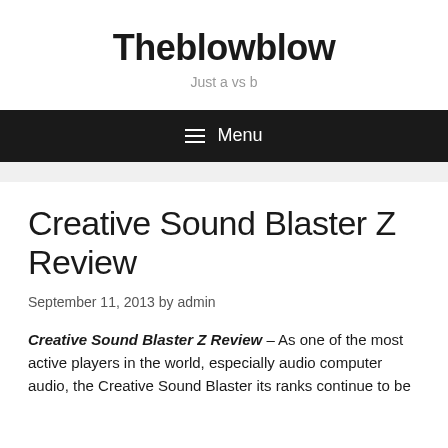Theblowblow
Just a vs b
☰ Menu
Creative Sound Blaster Z Review
September 11, 2013 by admin
Creative Sound Blaster Z Review – As one of the most active players in the world, especially audio computer audio, the Creative Sound Blaster its ranks continue to be